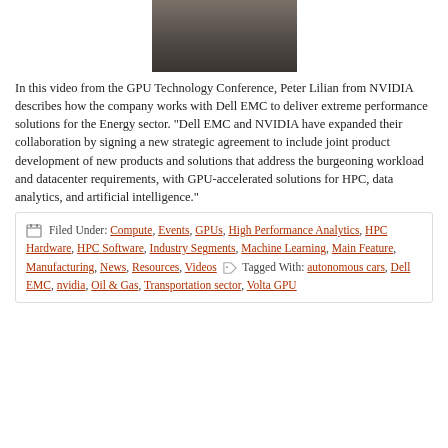[Figure (photo): A person in a light-colored jacket, partially visible, standing, from a video conference presentation.]
In this video from the GPU Technology Conference, Peter Lilian from NVIDIA describes how the company works with Dell EMC to deliver extreme performance solutions for the Energy sector. “Dell EMC and NVIDIA have expanded their collaboration by signing a new strategic agreement to include joint product development of new products and solutions that address the burgeoning workload and datacenter requirements, with GPU-accelerated solutions for HPC, data analytics, and artificial intelligence.”
Filed Under: Compute, Events, GPUs, High Performance Analytics, HPC Hardware, HPC Software, Industry Segments, Machine Learning, Main Feature, Manufacturing, News, Resources, Videos Tagged With: autonomous cars, Dell EMC, nvidia, Oil & Gas, Transportation sector, Volta GPU